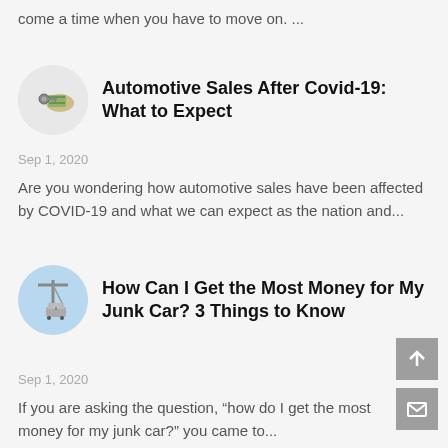come a time when you have to move on. ...
Automotive Sales After Covid-19: What to Expect
Sep 1, 2020
Are you wondering how automotive sales have been affected by COVID-19 and what we can expect as the nation and...
How Can I Get the Most Money for My Junk Car? 3 Things to Know
Sep 1, 2020
If you are asking the question, “how do I get the most money for my junk car?” you came to...